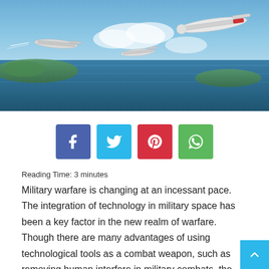[Figure (photo): Aerial photo showing military drones/UAVs flying over a coastal landscape with water, islands, and clouds]
Reading Time: 3 minutes
Military warfare is changing at an incessant pace. The integration of technology in military space has been a key factor in the new realm of warfare. Though there are many advantages of using technological tools as a combat weapon, such as removing human interfere in military combats, the threats are complex and diverse, from the inability to respond and the enormous destruction of technological weapons.